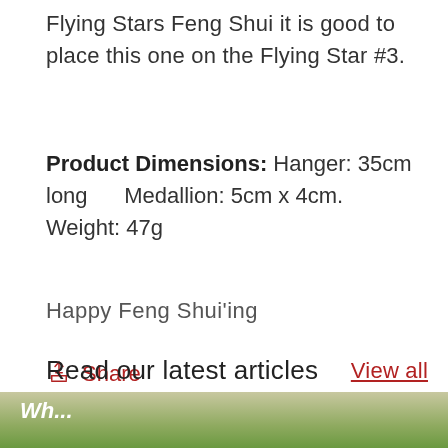Flying Stars Feng Shui it is good to place this one on the Flying Star #3.
Product Dimensions: Hanger: 35cm long    Medallion: 5cm x 4cm. Weight: 47g
Happy Feng Shui'ing
Share
Read our latest articles
View all
[Figure (photo): Bottom portion of a photo showing greenery/plants with italic white text overlay beginning with 'Wh...']